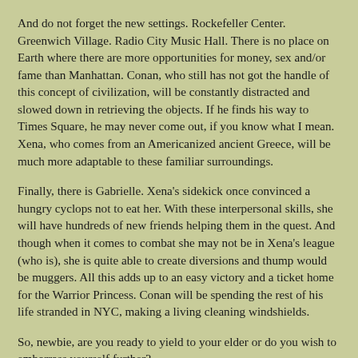And do not forget the new settings. Rockefeller Center. Greenwich Village. Radio City Music Hall. There is no place on Earth where there are more opportunities for money, sex and/or fame than Manhattan. Conan, who still has not got the handle of this concept of civilization, will be constantly distracted and slowed down in retrieving the objects. If he finds his way to Times Square, he may never come out, if you know what I mean. Xena, who comes from an Americanized ancient Greece, will be much more adaptable to these familiar surroundings.
Finally, there is Gabrielle. Xena's sidekick once convinced a hungry cyclops not to eat her. With these interpersonal skills, she will have hundreds of new friends helping them in the quest. And though when it comes to combat she may not be in Xena's league (who is), she is quite able to create diversions and thump would be muggers. All this adds up to an easy victory and a ticket home for the Warrior Princess. Conan will be spending the rest of his life stranded in NYC, making a living cleaning windshields.
So, newbie, are you ready to yield to your elder or do you wish to embarrass yourself further?
DAVE: Paul, like the ancient Greek heroes, you appear to be suffering from hubris, which can only lead to persecution by the Gods to an almost invisible, possibly little Death Val...